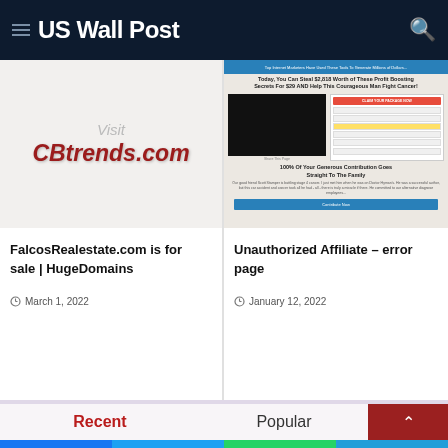US Wall Post
[Figure (screenshot): Visit CBtrends.com promotional image with grey italic 'Visit' text and red bold italic 'CBtrends.com' domain text on light background]
FalcosRealestate.com is for sale | HugeDomains
March 1, 2022
[Figure (screenshot): Unauthorized affiliate error page screenshot showing a blue header bar, headline text, embedded video player, form fields, and blue submit button]
Unauthorized Affiliate – error page
January 12, 2022
Recent
Popular